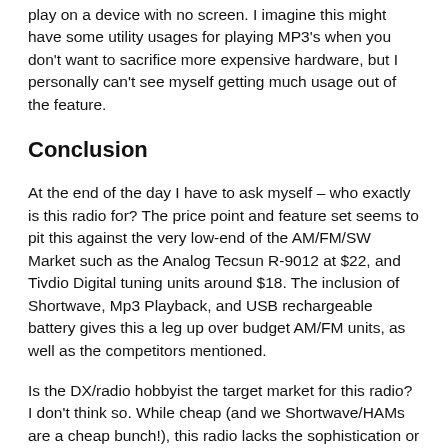play on a device with no screen. I imagine this might have some utility usages for playing MP3's when you don't want to sacrifice more expensive hardware, but I personally can't see myself getting much usage out of the feature.
Conclusion
At the end of the day I have to ask myself – who exactly is this radio for? The price point and feature set seems to pit this against the very low-end of the AM/FM/SW Market such as the Analog Tecsun R-9012 at $22, and Tivdio Digital tuning units around $18. The inclusion of Shortwave, Mp3 Playback, and USB rechargeable battery gives this a leg up over budget AM/FM units, as well as the competitors mentioned.
Is the DX/radio hobbyist the target market for this radio? I don't think so. While cheap (and we Shortwave/HAMs are a cheap bunch!), this radio lacks the sophistication or features a DX'er would want.